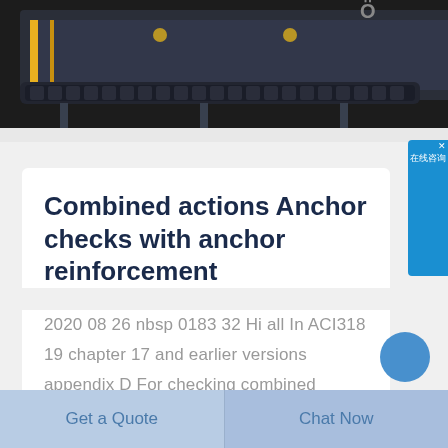[Figure (photo): Partial view of heavy construction or drilling machine (dark colored) viewed from below/side angle, with yellow accents and support legs visible against dark background]
Combined actions Anchor checks with anchor reinforcement
2020 08 26 nbsp 0183 32 Hi all In ACI318 19 chapter 17 and earlier versions appendix D For checking combined actions on anchors if you are foregoing